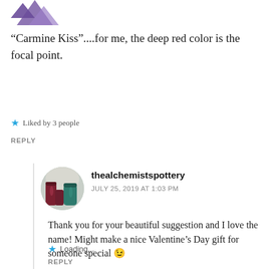[Figure (logo): Partial purple logo visible at top left corner]
“Carmine Kiss”....for me, the deep red color is the focal point.
Liked by 3 people
REPLY
[Figure (photo): Circular avatar photo showing pottery items including dark red and teal vases]
thealchemistspottery
JULY 25, 2019 AT 1:03 PM
Thank you for your beautiful suggestion and I love the name! Might make a nice Valentine’s Day gift for someone special 😉
Loading...
REPLY